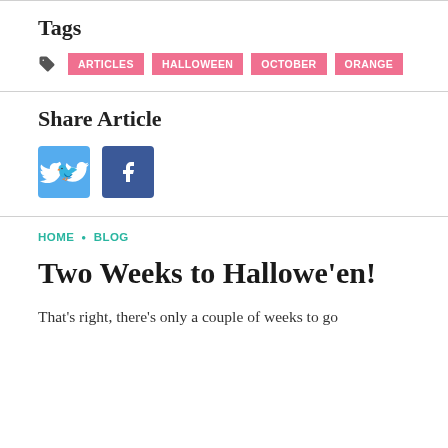Tags
ARTICLES  HALLOWEEN  OCTOBER  ORANGE
Share Article
[Figure (illustration): Twitter and Facebook share buttons — blue rounded square icons with bird and 'f' symbols]
HOME • BLOG
Two Weeks to Hallowe'en!
That's right, there's only a couple of weeks to go